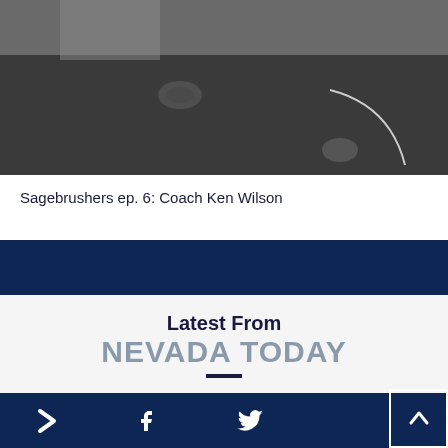[Figure (photo): Two people sitting at a dark conference table with a microphone, partial view from above the table]
Sagebrushers ep. 6: Coach Ken Wilson
[Figure (photo): Architectural detail of a building with arched windows, university campus building]
Latest From
NEVADA TODAY
Impact & Student Success